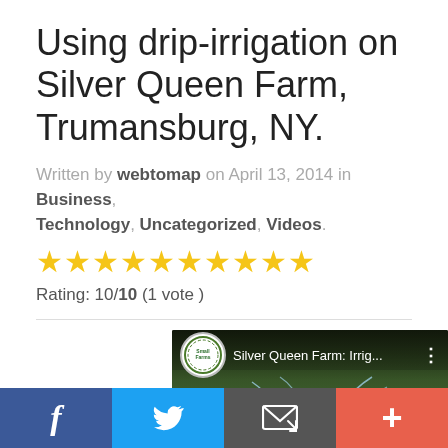Using drip-irrigation on Silver Queen Farm, Trumansburg, NY.
Written by webtomap on April 13, 2014 in Business, Technology, Uncategorized, Videos.
★★★★★★★★★★ Rating: 10/10 (1 vote )
[Figure (screenshot): YouTube video thumbnail for 'Silver Queen Farm: Irrig...' showing sprinkler irrigation with Small Farms logo]
[Figure (infographic): Social share bar with Facebook, Twitter, email/share, and plus buttons]